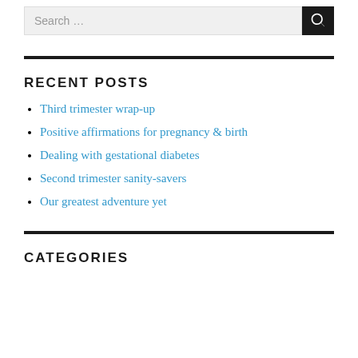Search ...
RECENT POSTS
Third trimester wrap-up
Positive affirmations for pregnancy & birth
Dealing with gestational diabetes
Second trimester sanity-savers
Our greatest adventure yet
CATEGORIES